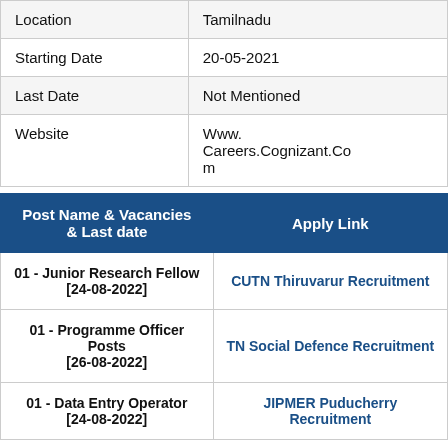|  |  |
| --- | --- |
| Location | Tamilnadu |
| Starting Date | 20-05-2021 |
| Last Date | Not Mentioned |
| Website | Www.Careers.Cognizant.Com |
| Post Name & Vacancies & Last date | Apply Link |
| --- | --- |
| 01 - Junior Research Fellow [24-08-2022] | CUTN Thiruvarur Recruitment |
| 01 - Programme Officer Posts [26-08-2022] | TN Social Defence Recruitment |
| 01 - Data Entry Operator [24-08-2022] | JIPMER Puducherry Recruitment |